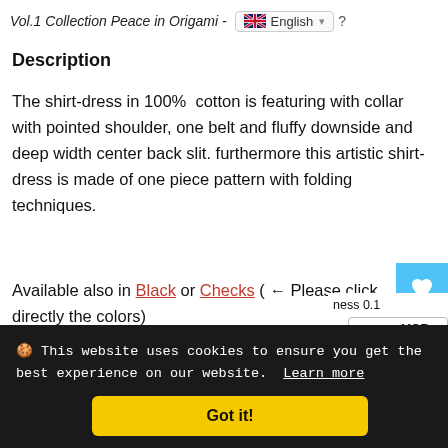Vol.1 Collection Peace in Origami - English
Description
The shirt-dress in 100%  cotton is featuring with collar with pointed shoulder, one belt and fluffy downside and deep width center back slit. furthermore this artistic shirt-dress is made of one piece pattern with folding techniques.
Available also in Black or Checks ( ← Please click directly the colors)
Material
🍪 This website uses cookies to ensure you get the best experience on our website.  Learn more
Got it!
ness 0.1
USD >
snap button / diameter 1 cm ×1
Contact Us